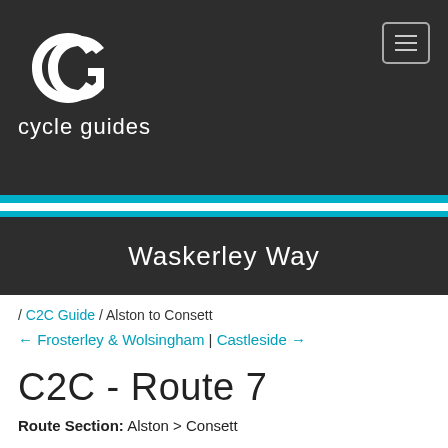[Figure (logo): Cycle Guides logo: stylized CG monogram in white on dark background, with text 'cycle guides' below in white]
Waskerley Way
/ C2C Guide / Alston to Consett
← Frosterley & Wolsingham | Castleside →
C2C - Route 7
Route Section: Alston > Consett